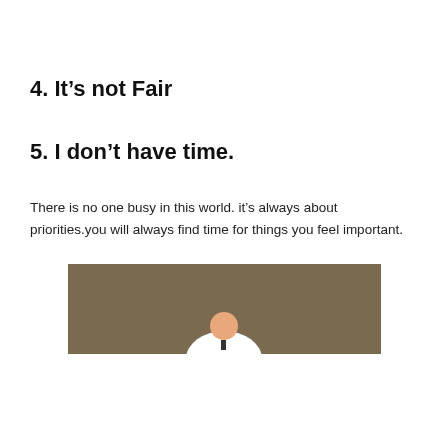4. It's not Fair
5. I don't have time.
There is no one busy in this world. it's always about priorities.you will always find time for things you feel important.
[Figure (illustration): A flat-style illustration showing a person (visible from shoulders up) with a round head and white shirt, centered against a brown/tan rectangular background.]